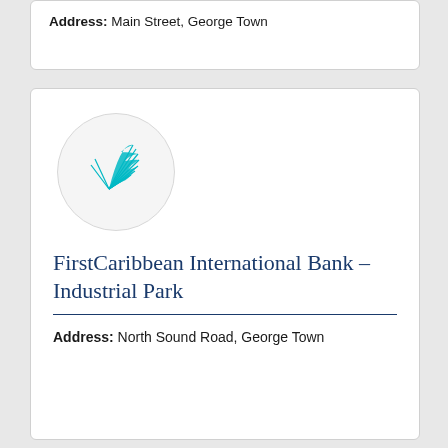Address: Main Street, George Town
[Figure (logo): FirstCaribbean International Bank logo: a teal palm frond/fan shape inside a light grey circle]
FirstCaribbean International Bank – Industrial Park
Address: North Sound Road, George Town